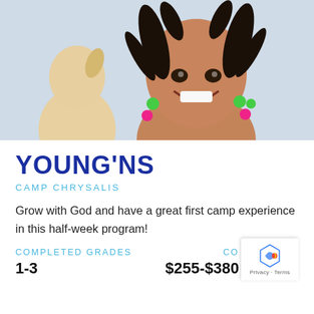[Figure (photo): Smiling young girl with braided hair and colorful bead accessories, with another child visible in background. Outdoor/indoor setting with light background.]
YOUNG'NS
CAMP CHRYSALIS
Grow with God and have a great first camp experience in this half-week program!
COMPLETED GRADES
CO
1-3
$255-$380